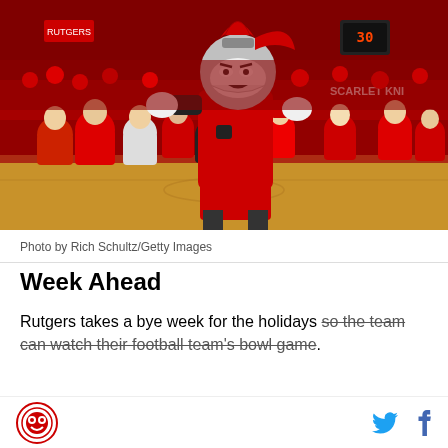[Figure (photo): Rutgers mascot Scarlet Knight interacting with fans in red clothing on a basketball court, surrounded by a crowd of cheering students. Photo taken at a basketball game with red arena lighting.]
Photo by Rich Schultz/Getty Images
Week Ahead
Rutgers takes a bye week for the holidays so the team can watch their football team's bowl game.